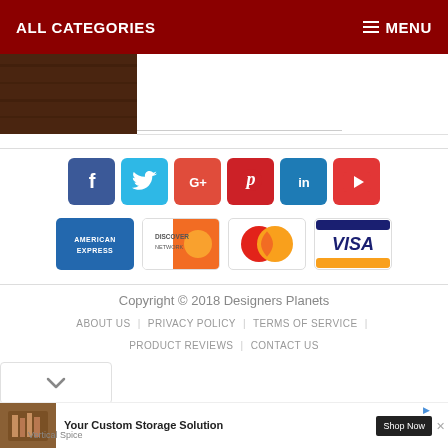ALL CATEGORIES | MENU
[Figure (screenshot): Brown wood texture image strip on left, white area on right with a short horizontal line]
[Figure (infographic): Row of 6 social media icon buttons: Facebook (blue), Twitter (sky blue), Google+ (red), Pinterest (red), LinkedIn (teal), YouTube (red)]
[Figure (infographic): Row of 4 payment method logos: American Express, Discover Network, MasterCard, Visa]
Copyright © 2018 Designers Planets
ABOUT US | PRIVACY POLICY | TERMS OF SERVICE
PRODUCT REVIEWS | CONTACT US
[Figure (other): Advertisement banner: Your Custom Storage Solution - Shop Now button, Vertical Spice brand]
Vertical Spice